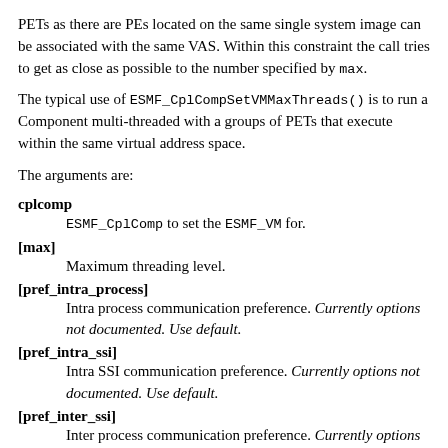PETs as there are PEs located on the same single system image can be associated with the same VAS. Within this constraint the call tries to get as close as possible to the number specified by max.
The typical use of ESMF_CplCompSetVMMaxThreads() is to run a Component multi-threaded with a groups of PETs that execute within the same virtual address space.
The arguments are:
cplcomp — ESMF_CplComp to set the ESMF_VM for.
[max] — Maximum threading level.
[pref_intra_process] — Intra process communication preference. Currently options not documented. Use default.
[pref_intra_ssi] — Intra SSI communication preference. Currently options not documented. Use default.
[pref_inter_ssi] — Inter process communication preference. Currently options not documented. Use default.
[rc] — Return code; equals ESMF_SUCCESS if there are no errors.